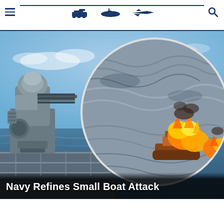Navigation bar with military vehicle icons (tank, submarine, aircraft) and hamburger menu
[Figure (photo): Composite image: left side shows a naval Close-In Weapon System (CIWS) Phalanx gun mount on a ship deck overlooking the ocean with blue sky; right side shows a circular inset image of a small boat engulfed in fire and explosion on rough seas, as if under attack.]
Navy Refines Small Boat Attack